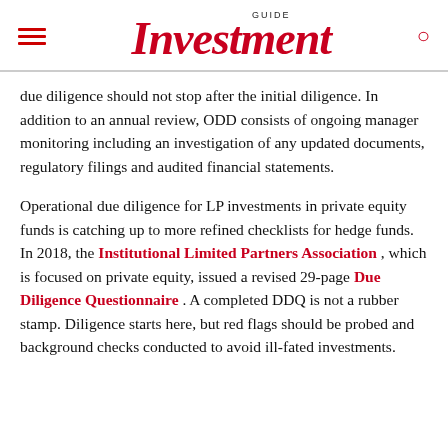GUIDE Investment
due diligence should not stop after the initial diligence. In addition to an annual review, ODD consists of ongoing manager monitoring including an investigation of any updated documents, regulatory filings and audited financial statements.
Operational due diligence for LP investments in private equity funds is catching up to more refined checklists for hedge funds. In 2018, the Institutional Limited Partners Association , which is focused on private equity, issued a revised 29-page Due Diligence Questionnaire . A completed DDQ is not a rubber stamp. Diligence starts here, but red flags should be probed and background checks conducted to avoid ill-fated investments.